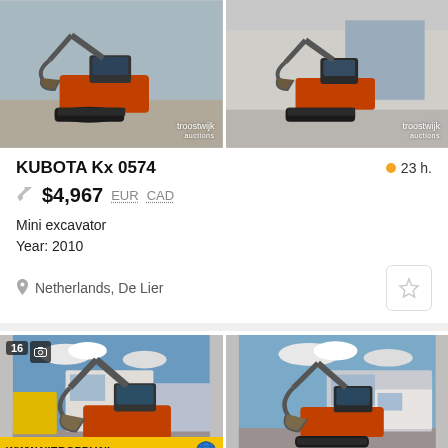[Figure (photo): Two side-by-side photos of a Kubota mini excavator, orange/red color, with Troostwijk Auctions watermark on each photo]
KUBOTA Kx 0574
23 h.
$4,967  EUR  CAD
Mini excavator
Year: 2010
Netherlands, De Lier
[Figure (photo): Two side-by-side photos of a Kubota mini excavator with WWW.NIEROPBV.NL banner and globe logo at bottom of left photo, image count badge '16' shown]